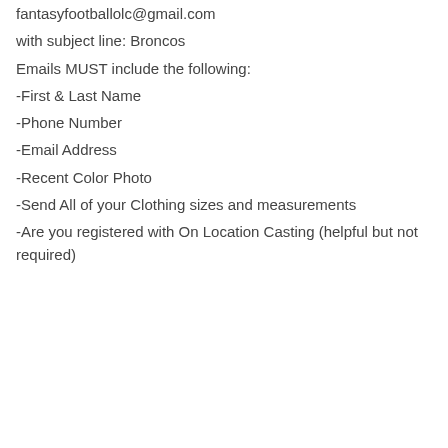fantasyfootballolc@gmail.com
with subject line: Broncos
Emails MUST include the following:
-First & Last Name
-Phone Number
-Email Address
-Recent Color Photo
-Send All of your Clothing sizes and measurements
-Are you registered with On Location Casting (helpful but not required)